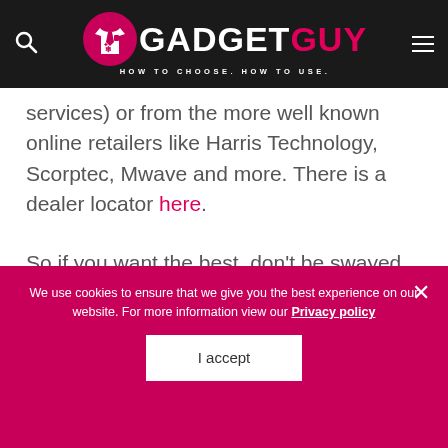GADGET GUY — HOW TO CHOOSE. HOW TO USE.
services) or from the more well known online retailers like Harris Technology, Scorptec, Mwave and more. There is a dealer locator here.
So if you want the best, don't be swayed by consumer-grade notebooks and retailer glib, high-pressure sales talk – look at Dynabook.
We use cookies to ensure that we give you the best experience on our website. For more information view our Privacy policy